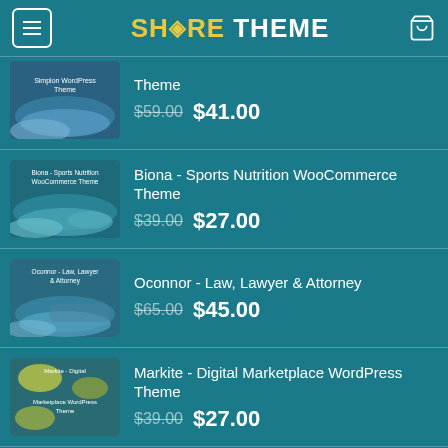SH<RE THEME
Theme · $59.00 $41.00
Biona - Sports Nutrition WooCommerce Theme · $39.00 $27.00
Oconnor - Law, Lawyer & Attorney · $65.00 $45.00
Markite - Digital Marketplace WordPress Theme · $39.00 $27.00
BildPress - Construction WordPress Theme · $39.00 $27.00